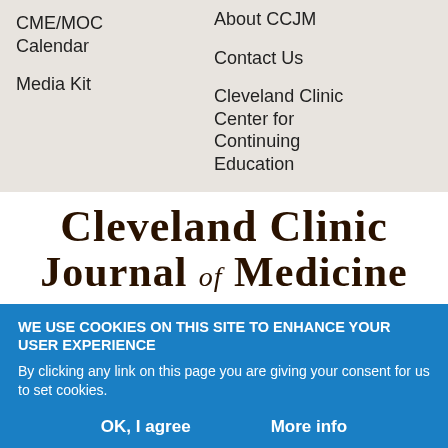CME/MOC Calendar
Media Kit
About CCJM
Contact Us
Cleveland Clinic Center for Continuing Education
Consult QD
[Figure (logo): Cleveland Clinic Journal of Medicine logo with serif text on white background]
WE USE COOKIES ON THIS SITE TO ENHANCE YOUR USER EXPERIENCE
By clicking any link on this page you are giving your consent for us to set cookies.
OK, I agree
More info